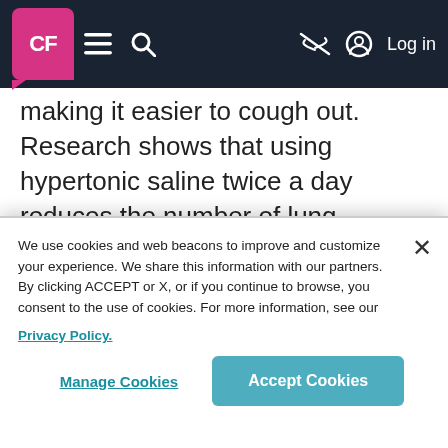CF | Menu | Search | Log in
making it easier to cough out. Research shows that using hypertonic saline twice a day reduces the number of lung infections in people with CF.²
How is hypertonic saline administered?
Hypertonic saline is most often inhaled as a mist through a nebulizer or compressor. It
We use cookies and web beacons to improve and customize your experience. We share this information with our partners. By clicking ACCEPT or X, or if you continue to browse, you consent to the use of cookies. For more information, see our Privacy Policy.
Manage Cookies | Accept Cookies